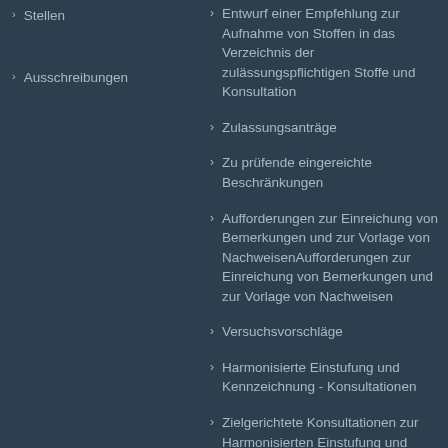Stellen
Ausschreibungen
Entwurf einer Empfehlung zur Aufnahme von Stoffen in das Verzeichnis der zulässungspflichtigen Stoffe und Konsultation
Zulassungsanträge
Zu prüfende eingereichte Beschränkungen
Aufforderungen zur Einreichung von Bemerkungen und zur Vorlage von NachweisenAufforderungen zur Einreichung von Bemerkungen und zur Vorlage von Nachweisen
Versuchsvorschläge
Harmonisierte Einstufung und Kennzeichnung - Konsultationen
Zielgerichtete Konsultationen zur Harmonisierten Einstufung und Kennzeichnung
Konsultation auf Ersuchen des Direktors